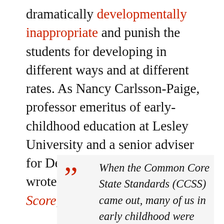dramatically developmentally inappropriate and punish the students for developing in different ways and at different rates. As Nancy Carlsson-Paige, professor emeritus of early-childhood education at Lesley University and a senior adviser for Defending the Early Years, wrote in the book, More Than a Score,
When the Common Core State Standards (CCSS) came out, many of us in early childhood were alarmed. There had not been one K-3 classroom teacher or early childhood professional on the committees that wrote and reviewed the CCSS. We could see that the standards